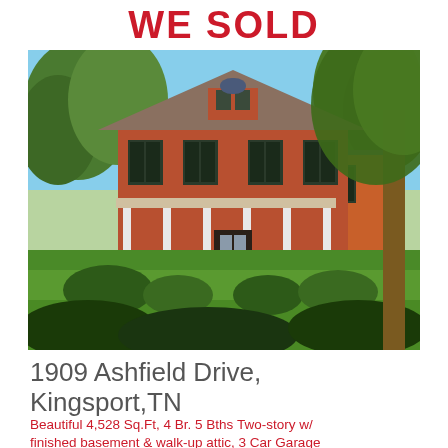WE SOLD
[Figure (photo): Exterior photo of a large two-story brick colonial home with a wide front porch, dormer windows, and lush green lawn with trees]
1909 Ashfield Drive,
Kingsport,TN
Beautiful 4,528 Sq.Ft, 4 Br. 5 Bths Two-story w/ finished basement & walk-up attic, 3 Car Garage